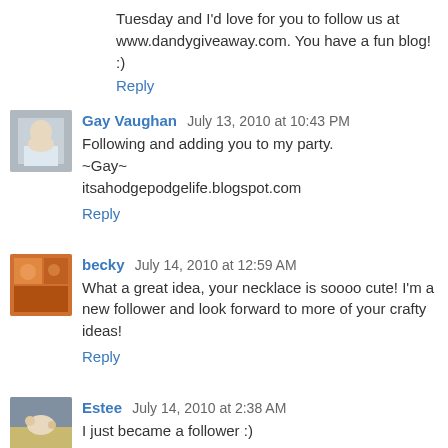Tuesday and I'd love for you to follow us at www.dandygiveaway.com. You have a fun blog! :)
Reply
Gay Vaughan  July 13, 2010 at 10:43 PM
Following and adding you to my party.
~Gay~
itsahodgepodgelife.blogspot.com
Reply
becky  July 14, 2010 at 12:59 AM
What a great idea, your necklace is soooo cute! I'm a new follower and look forward to more of your crafty ideas!
Reply
Estee  July 14, 2010 at 2:38 AM
I just became a follower :)